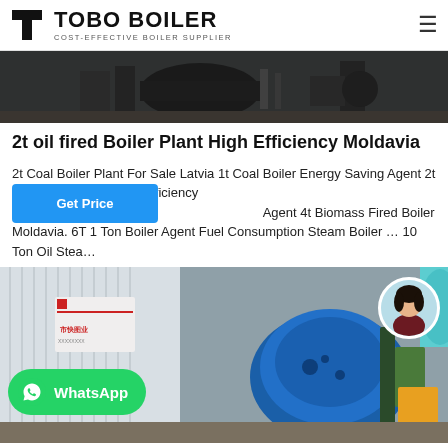TOBO BOILER — COST-EFFECTIVE BOILER SUPPLIER
[Figure (photo): Industrial boiler equipment in a factory/workshop setting, dark tones]
2t oil fired Boiler Plant High Efficiency Moldavia
2t Coal Boiler Plant For Sale Latvia 1t Coal Boiler Energy Saving Agent 2t Coal Boiler Plant High Efficiency Latvia Agent 4t Biomass Fired Boiler Moldavia. 6T 1 Ton Boiler Agent Fuel Consumption Steam Boiler … 10 Ton Oil Stea…
[Figure (photo): Industrial boiler equipment (blue cylindrical boiler) with Chinese signage building in background, WhatsApp button overlay and woman avatar in top right]